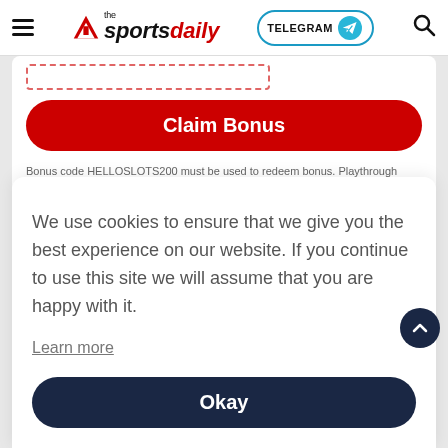the sportsdaily — TELEGRAM — search
[Figure (screenshot): Dashed red rectangle input box (partially visible)]
Claim Bonus
Bonus code HELLOSLOTS200 must be used to redeem bonus. Playthrough requirement is 35x, only play after the deposit counts towards the requirement. Minimum Deposit from $10. General terms & conditions apply
We use cookies to ensure that we give you the best experience on our website. If you continue to use this site we will assume that you are happy with it.
Learn more
Okay